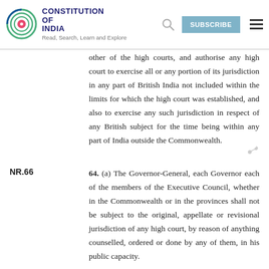Constitution of India — Read, Search, Learn and Explore
other of the high courts, and authorise any high court to exercise all or any portion of its jurisdiction in any part of British India not included within the limits for which the high court was established, and also to exercise any such jurisdiction in respect of any British subject for the time being within any part of India outside the Commonwealth.
NR.66
64. (a) The Governor-General, each Governor each of the members of the Executive Council, whether in the Commonwealth or in the provinces shall not be subject to the original, appellate or revisional jurisdiction of any high court, by reason of anything counselled, ordered or done by any of them, in his public capacity.